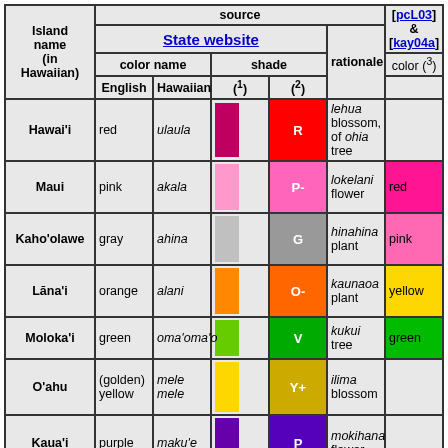| Island name (in Hawaiian) | source > State website > color name > English | source > State website > color name > Hawaiian | source > State website > shade > (1) | source > State website > shade > (2) | source > State website > rationale | source > [pcL03] & [kay04a] > color (3) |
| --- | --- | --- | --- | --- | --- | --- |
| Hawai'i | red | ulaula | [crimson swatch] | R | lehua blossom, of ohia tree |  |
| Maui | pink | akala | [pink swatch] | P- | lokelani flower | red |
| Kaho'olawe | gray | ahina | [gray swatch] | G | hinahina plant | pink |
| Lāna'i | orange | alani | [orange swatch] | O- | kaunaoa plant | yellow |
| Moloka'i | green | oma'oma'o | [green swatch] | V | kukui tree | green |
| O'ahu | (golden) yellow | mele mele | [yellow swatch] | Y+ | ilima blossom |  |
| Kaua'i | purple | maku'e | [purple swatch] | P | mokihana flower |  |
| Ni'ihau | white | ke'oke'o | [white swatch] | W | pupu shell |  |